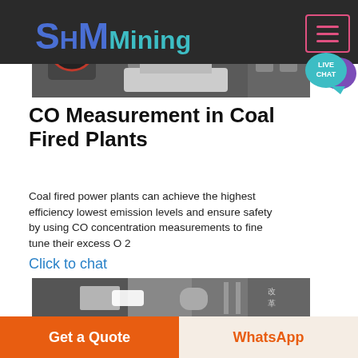SH MMining
[Figure (photo): Industrial machinery photo at top of page — cone crusher or similar heavy mining equipment]
[Figure (other): Live Chat teal speech bubble icon with purple shadow bubble, text LIVE CHAT]
CO Measurement in Coal Fired Plants
Coal fired power plants can achieve the highest efficiency lowest emission levels and ensure safety by using CO concentration measurements to fine tune their excess O 2
Click to chat
[Figure (photo): Industrial facility interior photo at bottom of page]
Get a Quote
WhatsApp